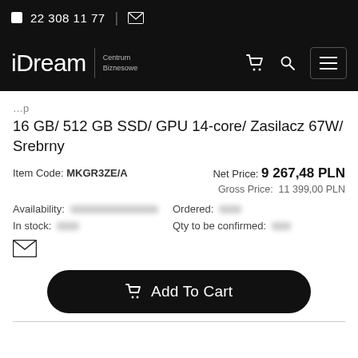22 308 11 77 | [email icon]
iDream | Centrum Biznesowe [cart icon] [search icon] [menu icon]
16 GB/ 512 GB SSD/ GPU 14-core/ Zasilacz 67W/ Srebrny
Item Code: MKGR3ZE/A
Net Price: 9 267,48 PLN
Gross Price: 11 399,00 PLN
Availability: [blurred]
Ordered: [blurred]
In stock: [blurred]
Qty to be confirmed: [blurred]
[email icon]
Add To Cart